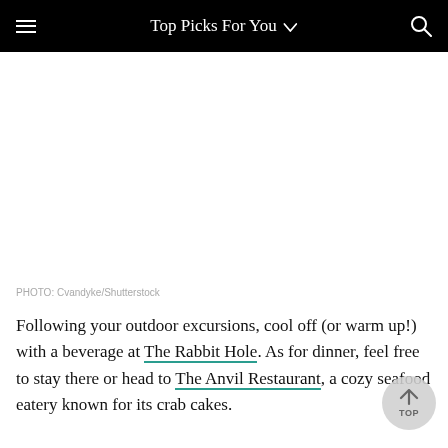Top Picks For You
[Figure (photo): White/blank image area representing a photo placeholder]
PHOTO: Cvandyke/Shutterstock
Following your outdoor excursions, cool off (or warm up!) with a beverage at The Rabbit Hole. As for dinner, feel free to stay there or head to The Anvil Restaurant, a cozy seafood eatery known for its crab cakes.